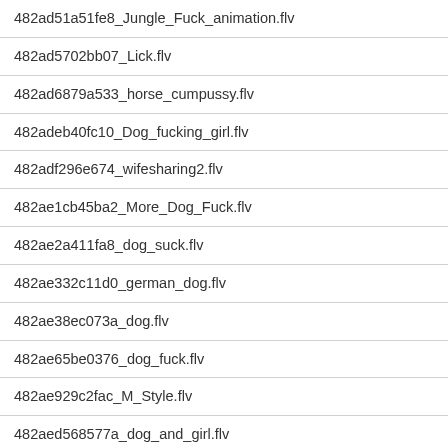482ad51a51fe8_Jungle_Fuck_animation.flv
482ad5702bb07_Lick.flv
482ad6879a533_horse_cumpussy.flv
482adeb40fc10_Dog_fucking_girl.flv
482adf296e674_wifesharing2.flv
482ae1cb45ba2_More_Dog_Fuck.flv
482ae2a411fa8_dog_suck.flv
482ae332c11d0_german_dog.flv
482ae38ec073a_dog.flv
482ae65be0376_dog_fuck.flv
482ae929c2fac_M_Style.flv
482aed568577a_dog_and_girl.flv
482aee80d95cd_sucking_bulldog.flv